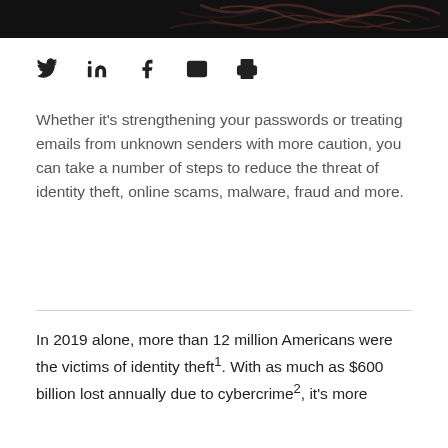[Figure (other): Dark header banner with decorative abstract pattern]
[Figure (other): Social sharing icons: Twitter, LinkedIn, Facebook, Email, Print]
Whether it's strengthening your passwords or treating emails from unknown senders with more caution, you can take a number of steps to reduce the threat of identity theft, online scams, malware, fraud and more.
In 2019 alone, more than 12 million Americans were the victims of identity theft¹. With as much as $600 billion lost annually due to cybercrime², it's more